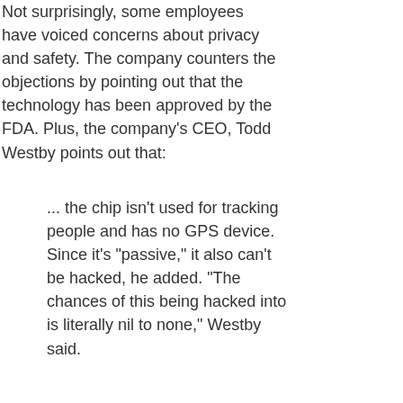Not surprisingly, some employees have voiced concerns about privacy and safety. The company counters the objections by pointing out that the technology has been approved by the FDA. Plus, the company's CEO, Todd Westby points out that:
... the chip isn't used for tracking people and has no GPS device. Since it's "passive," it also can't be hacked, he added. "The chances of this being hacked into is literally nil to none," Westby said.
And, of course, it's optional. (That said, the majority of employees have signed up to get implanted starting August 1.)
A number of non-employees are voicing concerns about this technology. Some of these concerns are coming from religious groups.